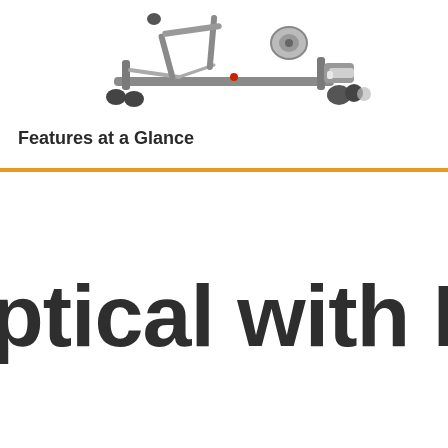[Figure (photo): Partial view of a fitness rowing or elliptical exercise machine frame in gray/silver metal, shown from above on a white background]
Features at a Glance
ptical with Heart